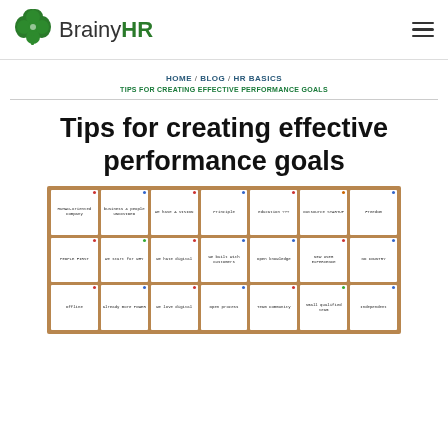BrainyHR
HOME / BLOG / HR BASICS
TIPS FOR CREATING EFFECTIVE PERFORMANCE GOALS
Tips for creating effective performance goals
[Figure (photo): A corkboard covered with sticky notes showing various company values and ideas such as 'Human-oriented Company', 'business & people UNDIVIDED', 'We have A VISION', 'Principle', 'Education ???', 'Outsource STARTUP', 'Freedom', 'PEOPLE FIRST', 'We start for WHY', 'We hate digital', 'we built with Customers', 'Open knowledge', 'NEW USER EXPERIENCE', 'NO COUNTRY', 'Offline', 'already more POWER', 'We love digital', 'Open process', 'Team Community', 'small qualified team', 'Independent']